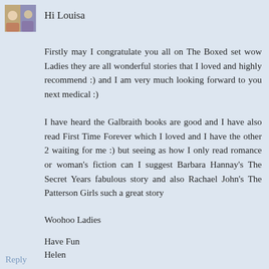[Figure (photo): Small avatar photo of a group of people]
Hi Louisa
Firstly may I congratulate you all on The Boxed set wow Ladies they are all wonderful stories that I loved and highly recommend :) and I am very much looking forward to you next medical :)
I have heard the Galbraith books are good and I have also read First Time Forever which I loved and I have the other 2 waiting for me :) but seeing as how I only read romance or woman's fiction can I suggest Barbara Hannay's The Secret Years fabulous story and also Rachael John's The Patterson Girls such a great story
Woohoo Ladies
Have Fun
Helen
Reply
▾  Replies
Louisa George   November 27, 2015 at 5:55 PM